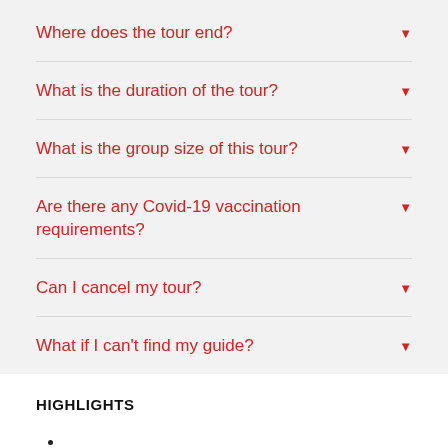Where does the tour end?
What is the duration of the tour?
What is the group size of this tour?
Are there any Covid-19 vaccination requirements?
Can I cancel my tour?
What if I can't find my guide?
HIGHLIGHTS